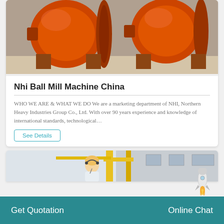[Figure (photo): Large orange industrial ball mill machines inside a factory/warehouse, sitting on a concrete floor.]
Nhi Ball Mill Machine China
WHO WE ARE & WHAT WE DO We are a marketing department of NHI, Northern Heavy Industries Group Co., Ltd. With over 90 years experience and knowledge of international standards, technological…
See Details
[Figure (photo): Rocket/spaceship illustration floating above the page.]
[Figure (photo): Industrial equipment or crane facility with yellow steel structure and building in background; blonde woman customer service representative in foreground.]
Get Quotation
Online Chat